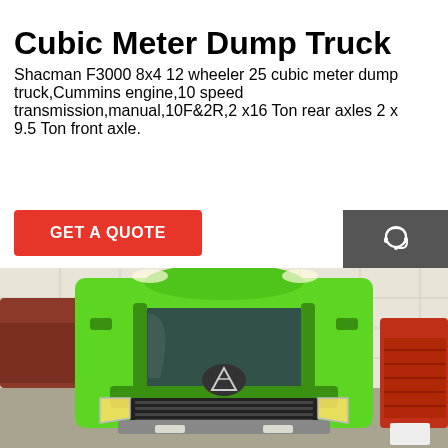Cubic Meter Dump Truck
Shacman F3000 8x4 12 wheeler 25 cubic meter dump truck,Cummins engine,10 speed transmission,manual,10F&2R,2 x16 Ton rear axles 2 x 9.5 Ton front axle.
GET A QUOTE
[Figure (photo): Front view of a bright green Shacman F3000 8x4 dump truck displayed in an indoor showroom, flanked by other trucks on both sides.]